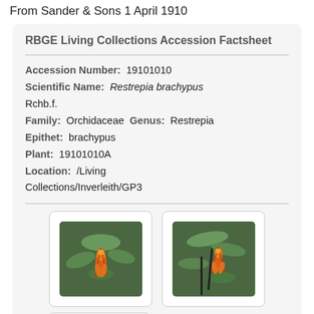From Sander & Sons 1 April 1910
RBGE Living Collections Accession Factsheet
Accession Number: 19101010
Scientific Name: Restrepia brachypus Rchb.f.
Family: Orchidaceae  Genus: Restrepia
Epithet: brachypus
Plant: 19101010A
Location: /Living Collections/Inverleith/GP3
[Figure (photo): Photo of Restrepia brachypus orchid flower, orange/red coloring against green leaves]
[Figure (photo): Photo of Restrepia brachypus orchid, orange flower visible among green foliage]
[Figure (photo): Partially visible third photo card at bottom]